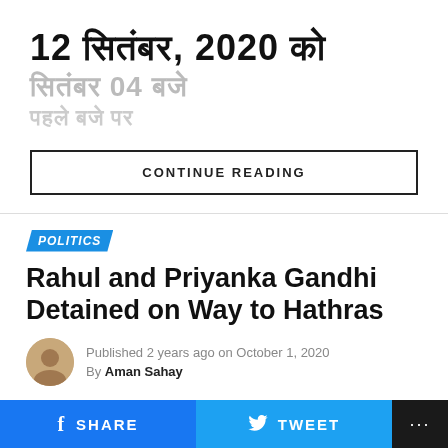12 सितंबर, 2020 को सितंबर 04 बजे पहले बजे पर
CONTINUE READING
POLITICS
Rahul and Priyanka Gandhi Detained on Way to Hathras
Published 2 years ago on October 1, 2020
By Aman Sahay
SHARE   TWEET   ...